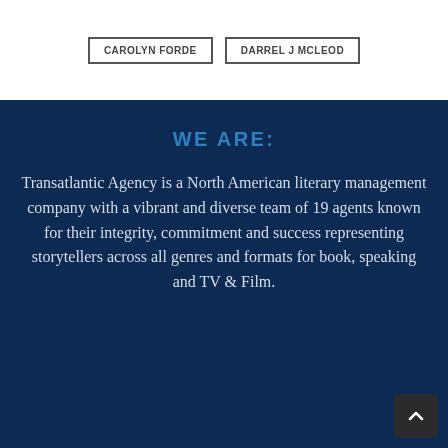CAROLYN FORDE   DARREL J MCLEOD
WE ARE:
Transatlantic Agency is a North American literary management company with a vibrant and diverse team of 19 agents known for their integrity, commitment and success representing storytellers across all genres and formats for book, speaking and TV & Film.